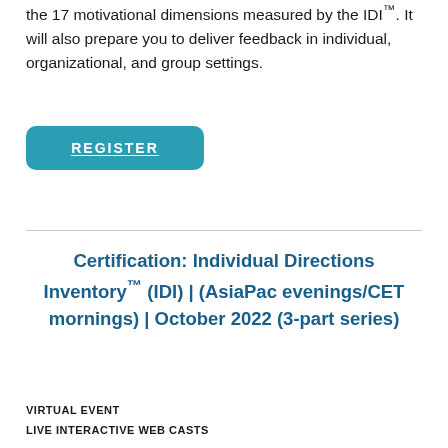the 17 motivational dimensions measured by the IDI™. It will also prepare you to deliver feedback in individual, organizational, and group settings.
REGISTER
Certification: Individual Directions Inventory™ (IDI) | (AsiaPac evenings/CET mornings) | October 2022 (3-part series)
VIRTUAL EVENT
LIVE INTERACTIVE WEB CASTS